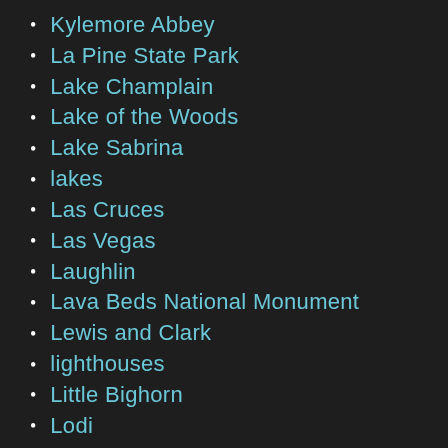Kylemore Abbey
La Pine State Park
Lake Champlain
Lake of the Woods
Lake Sabrina
lakes
Las Cruces
Las Vegas
Laughlin
Lava Beds National Monument
Lewis and Clark
lighthouses
Little Bighorn
Lodi
Long Beach
Lopez Island